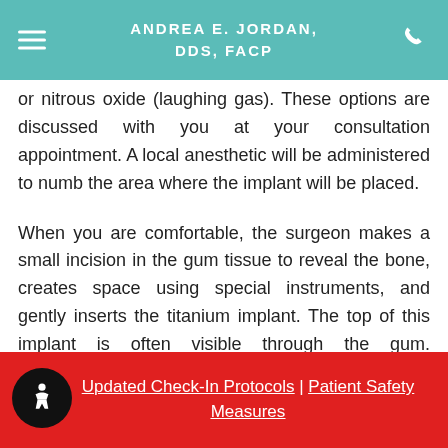ANDREA E. JORDAN, DDS, FACP
or nitrous oxide (laughing gas). These options are discussed with you at your consultation appointment. A local anesthetic will be administered to numb the area where the implant will be placed.
When you are comfortable, the surgeon makes a small incision in the gum tissue to reveal the bone, creates space using special instruments, and gently inserts the titanium implant. The top of this implant is often visible through the gum. Sometimes it is better in the early stages
Updated Check-In Protocols | Patient Safety Measures